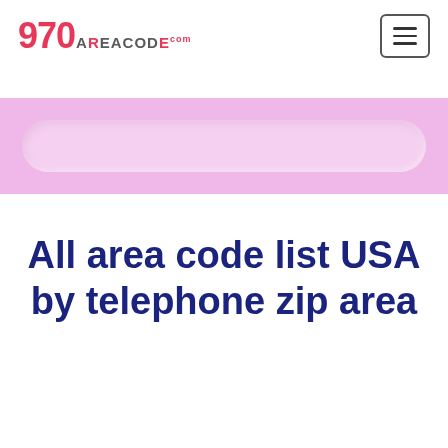970 AREACODE .com
[Figure (other): Pink banner with a rounded pill-shaped search bar input field in lighter pink]
All area code list USA by telephone zip area